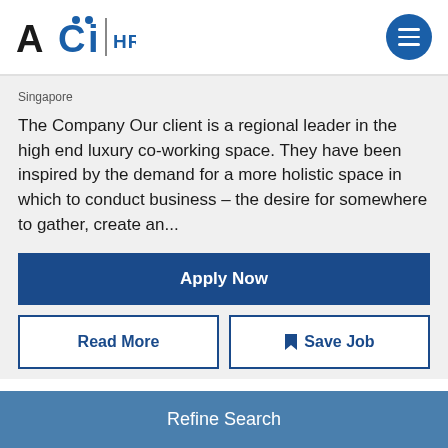[Figure (logo): ACI HR Solutions logo with blue circle menu button]
Singapore
The Company Our client is a regional leader in the high end luxury co-working space. They have been inspired by the demand for a more holistic space in which to conduct business – the desire for somewhere to gather, create an...
Apply Now
Read More
Save Job
Refine Search